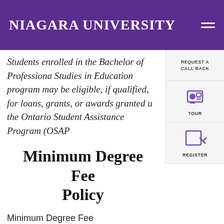Niagara University
Students enrolled in the Bachelor of Professional Studies in Education program may be eligible, if qualified, for loans, grants, or awards granted u the Ontario Student Assistance Program (OSAP
Minimum Degree Fee Policy
Minimum Degree Fee
All students registered in Niagara University programs offered in Canada must pay a minimum degree fee, which is based upon the full-time program length. The minimum degree fee for the